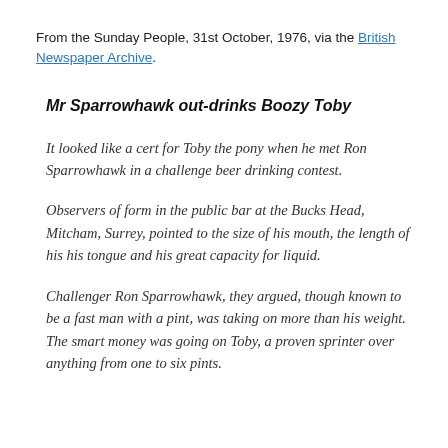From the Sunday People, 31st October, 1976, via the British Newspaper Archive.
Mr Sparrowhawk out-drinks Boozy Toby
It looked like a cert for Toby the pony when he met Ron Sparrowhawk in a challenge beer drinking contest.
Observers of form in the public bar at the Bucks Head, Mitcham, Surrey, pointed to the size of his mouth, the length of his his tongue and his great capacity for liquid.
Challenger Ron Sparrowhawk, they argued, though known to be a fast man with a pint, was taking on more than his weight. The smart money was going on Toby, a proven sprinter over anything from one to six pints.